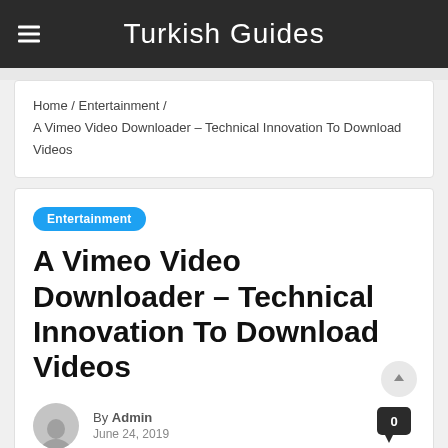Turkish Guides
Home / Entertainment / A Vimeo Video Downloader – Technical Innovation To Download Videos
Entertainment
A Vimeo Video Downloader – Technical Innovation To Download Videos
By Admin
June 24, 2019